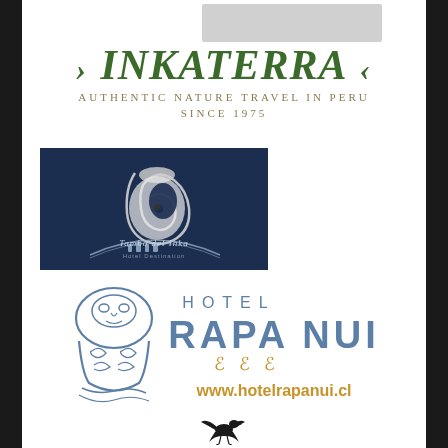[Figure (logo): INKATERRA logo with dark green stylized text, arrows on both sides, subtitle 'AUTHENTIC NATURE TRAVEL IN PERU SINCE 1975' in gold/brown spaced lettering]
[Figure (logo): Tambo del Inka hotel logo on dark navy blue background with stylized letter 'a', silhouette of llamas and mountains, text reading 'Tambo del Inka' and 'Hotel Destination']
[Figure (logo): Hotel Rapa Nui logo with blue outlined Moai figure on left, spaced blue text 'HOTEL' above large text 'RAPA NUI', three golden decorative symbols below, and website URL www.hotelrapanui.cl in orange]
[Figure (logo): Small black bird silhouette at the bottom center of the page]